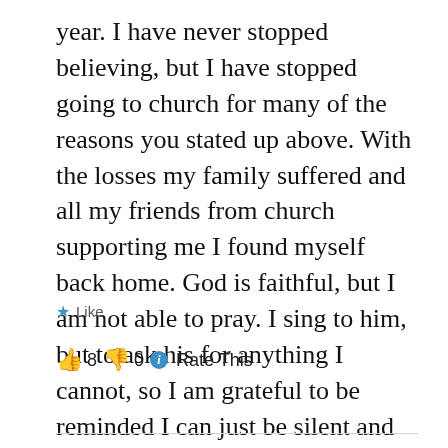year. I have never stopped believing, but I have stopped going to church for many of the reasons you stated up above. With the losses my family suffered and all my friends from church supporting me I found myself back home. God is faithful, but I am not able to pray. I sing to him, but to ask his for anything I cannot, so I am grateful to be reminded I can just be silent and say his name.
★ Like
👍 8 👎 0 ℹ Rate This
Log in to Reply